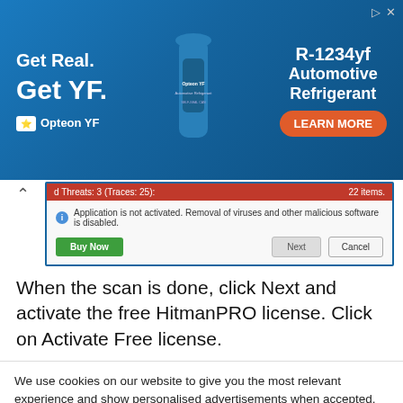[Figure (screenshot): Advertisement banner for Opteon YF R-1234yf Automotive Refrigerant with a blue background, bottle image, and 'LEARN MORE' button]
[Figure (screenshot): Screenshot of HitmanPRO antivirus scan dialog showing red title bar with threat count, info message about application not being activated, and Buy Now/Next/Cancel buttons]
When the scan is done, click Next and activate the free HitmanPRO license. Click on Activate Free license.
We use cookies on our website to give you the most relevant experience and show personalised advertisements when accepted. By clicking “Accept All”, you consent to the use of ALL the cookies. However, you may visit “Cookie Settings” to provide a controlled consent. Read our Privacy Policy